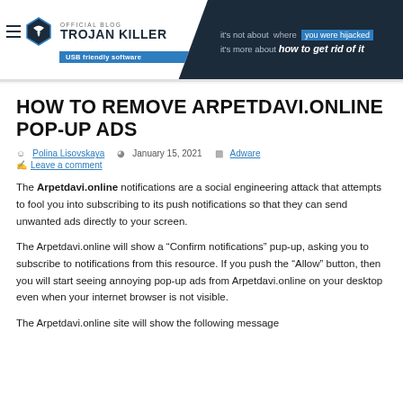OFFICIAL BLOG TROJAN KILLER — USB friendly software — it's not about where you were hijacked it's more about how to get rid of it
HOW TO REMOVE ARPETDAVI.ONLINE POP-UP ADS
Polina Lisovskaya  January 15, 2021  Adware  Leave a comment
The Arpetdavi.online notifications are a social engineering attack that attempts to fool you into subscribing to its push notifications so that they can send unwanted ads directly to your screen.
The Arpetdavi.online will show a “Confirm notifications” pup-up, asking you to subscribe to notifications from this resource. If you push the “Allow” button, then you will start seeing annoying pop-up ads from Arpetdavi.online on your desktop even when your internet browser is not visible.
The Arpetdavi.online site will show the following message